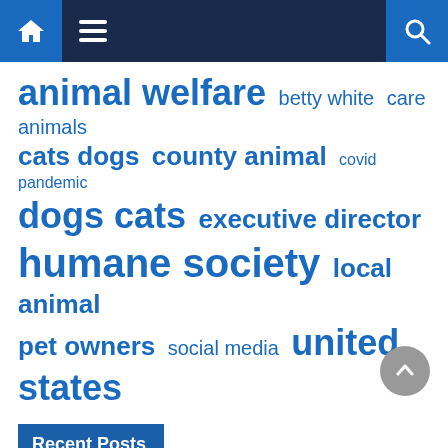Navigation bar with home icon, menu icon, and search icon
animal welfare  betty white  care animals  cats dogs  county animal  covid pandemic  dogs cats  executive director  humane society  local animal  pet owners  social media  united states
Recent Posts
Do I Need to take out a pet loan? Here's What You Need to Know Before Taking Applying for a Pet Loan
Asheville animal rescue receives money to care for senior dogs